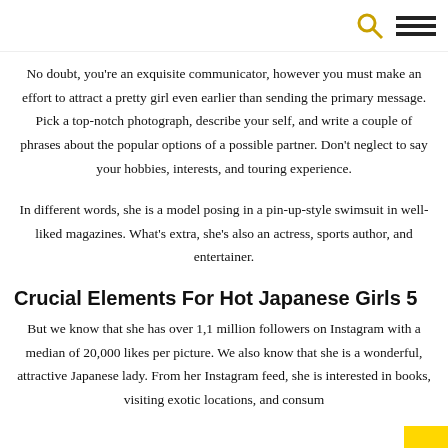[search icon] [menu icon]
No doubt, you're an exquisite communicator, however you must make an effort to attract a pretty girl even earlier than sending the primary message. Pick a top-notch photograph, describe your self, and write a couple of phrases about the popular options of a possible partner. Don't neglect to say your hobbies, interests, and touring experience.
In different words, she is a model posing in a pin-up-style swimsuit in well-liked magazines. What's extra, she's also an actress, sports author, and entertainer.
Crucial Elements For Hot Japanese Girls 5
But we know that she has over 1,1 million followers on Instagram with a median of 20,000 likes per picture. We also know that she is a wonderful, attractive Japanese lady. From her Instagram feed, she is interested in books, visiting exotic locations, and consum…